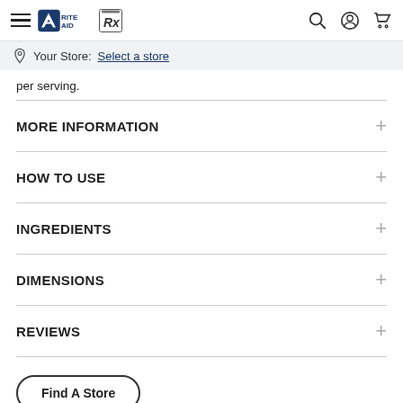Rite Aid navigation bar with hamburger menu, Rite Aid logo, Rx icon, search, account, and cart icons
Your Store: Select a store
per serving.
MORE INFORMATION
HOW TO USE
INGREDIENTS
DIMENSIONS
REVIEWS
Find A Store